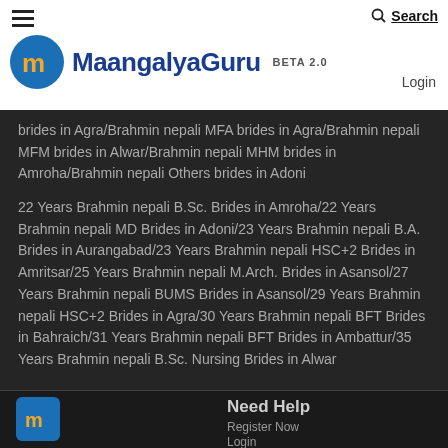MaangalyaGuru BETA 2.0 | Search | Login
brides in Agra/Brahmin nepali MFA brides in Agra/Brahmin nepali MFM brides in Alwar/Brahmin nepali MHM brides in Amroha/Brahmin nepali Others brides in Adoni
22 Years Brahmin nepali B.Sc. Brides in Amroha/22 Years Brahmin nepali MD Brides in Adoni/23 Years Brahmin nepali B.A. Brides in Aurangabad/23 Years Brahmin nepali HSC+2 Brides in Amritsar/25 Years Brahmin nepali M.Arch. Brides in Asansol/27 Years Brahmin nepali BUMS Brides in Asansol/29 Years Brahmin nepali HSC+2 Brides in Agra/30 Years Brahmin nepali BFT Brides in Bahraich/31 Years Brahmin nepali BFT Brides in Ambattur/35 Years Brahmin nepali B.Sc. Nursing Brides in Alwar
[Figure (logo): MaangalyaGuru footer logo icon - blue square with m letter]
Need Help
Register Now
Login
How to Use
FAQ
The Truth is you are blessed to get the best life partner and